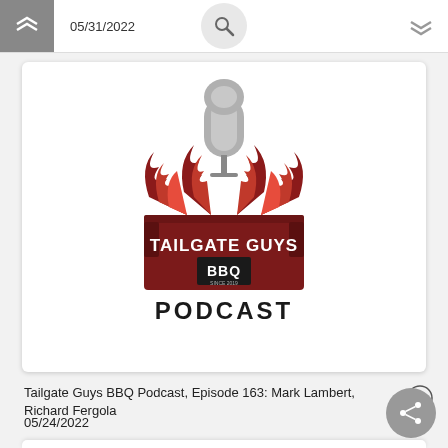05/31/2022
[Figure (logo): Tailgate Guys BBQ Podcast logo: a dark red pickup truck tailgate with flames and a microphone, text reads TAILGATE GUYS BBQ PODCAST]
Tailgate Guys BBQ Podcast, Episode 163: Mark Lambert, Richard Fergola
05/24/2022